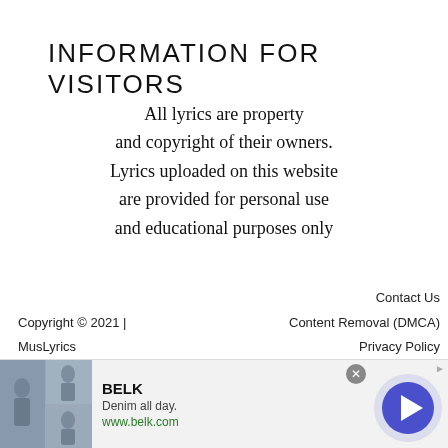INFORMATION FOR VISITORS
All lyrics are property and copyright of their owners. Lyrics uploaded on this website are provided for personal use and educational purposes only
Contact Us
Content Removal (DMCA)
Privacy Policy
Copyright © 2021 | MusLyrics
[Figure (other): Advertisement banner for BELK: 'Denim all day. www.belk.com' with fashion images and a navigation button]